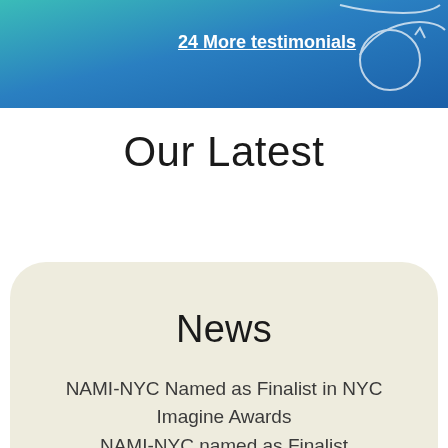24 More testimonials
Our Latest
News
NAMI-NYC Named as Finalist in NYC Imagine Awards
NAMI-NYC named as Finalist